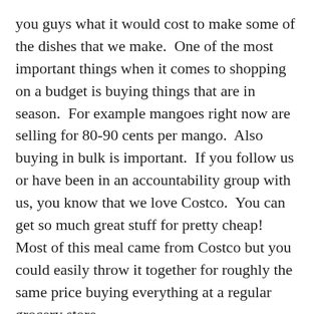you guys what it would cost to make some of the dishes that we make.  One of the most important things when it comes to shopping on a budget is buying things that are in season.  For example mangoes right now are selling for 80-90 cents per mango.  Also buying in bulk is important.  If you follow us or have been in an accountability group with us, you know that we love Costco.  You can get so much great stuff for pretty cheap!  Most of this meal came from Costco but you could easily throw it together for roughly the same price buying everything at a regular grocery store.
Here's the breakdown:
Rotissiere Chicken - $4.99
2 Mangos - $1.60
Mayo with Olive Oil - $0.41
1/2 Red Onion - $0.50
1/2 Bunch of Parsley - $0.50